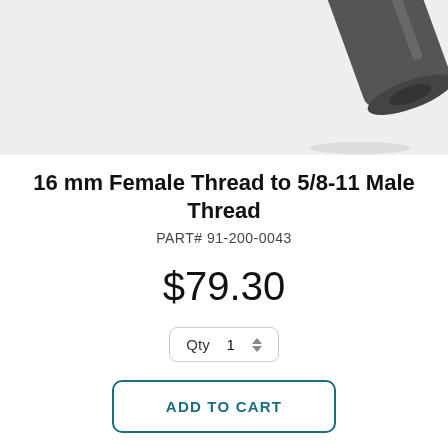[Figure (photo): Product photo of a 16mm female thread to 5/8-11 male thread adapter, dark gray metal part shown on light gray background, partially cropped at top]
16 mm Female Thread to 5/8-11 Male Thread
PART#  91-200-0043
$79.30
Qty  1
ADD TO CART